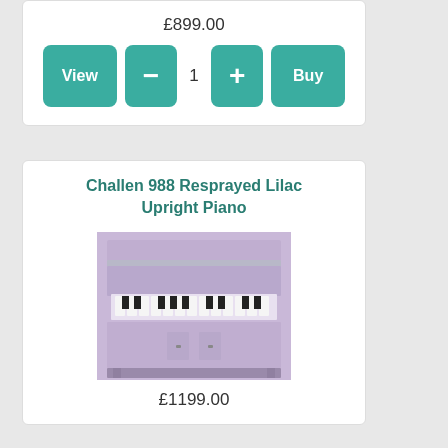£899.00
[Figure (screenshot): Teal UI buttons: View, minus, quantity 1, plus, Buy]
Challen 988 Resprayed Lilac Upright Piano
[Figure (photo): Photo of a lilac/purple resprayed Challen 988 upright piano]
£1199.00